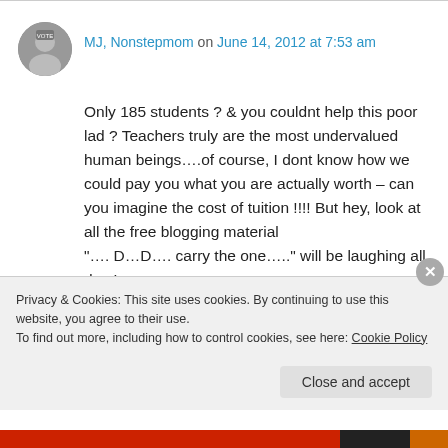[Figure (photo): Small circular avatar photo of a person holding a sign, black and white]
MJ, Nonstepmom on June 14, 2012 at 7:53 am
Only 185 students ? & you couldnt help this poor lad ? Teachers truly are the most undervalued human beings….of course, I dont know how we could pay you what you are actually worth – can you imagine the cost of tuition !!!! But hey, look at all the free blogging material
"…. D…D…. carry the one….." will be laughing all day !
Privacy & Cookies: This site uses cookies. By continuing to use this website, you agree to their use.
To find out more, including how to control cookies, see here: Cookie Policy
Close and accept